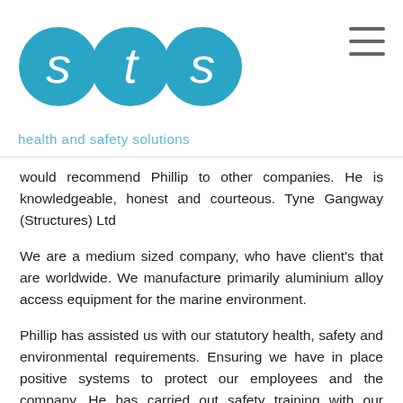[Figure (logo): STS health and safety solutions logo — three blue circles with letters s, t, s in white, tagline 'health and safety solutions' in light blue below]
would recommend Phillip to other companies. He is knowledgeable, honest and courteous. Tyne Gangway (Structures) Ltd
We are a medium sized company, who have client's that are worldwide. We manufacture primarily aluminium alloy access equipment for the marine environment.
Phillip has assisted us with our statutory health, safety and environmental requirements. Ensuring we have in place positive systems to protect our employees and the company. He has carried out safety training with our employees and various topics, these were fully engaged by our staff resulting in promoting a positive safety culture within our business.Phillip is on hand to offer guidance and mentoring role to our safety personnel, this assists us to grow and successfully maintain the day to day requirements for health and safety within the workplace. We